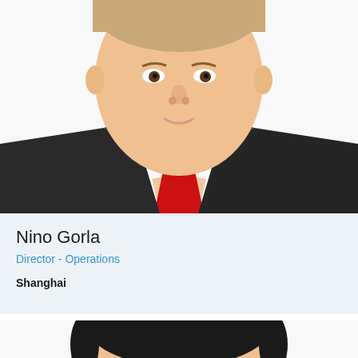[Figure (photo): Headshot of a Caucasian man in a dark suit with white shirt and red tie, smiling, cropped below the chest, white background.]
Nino Gorla
Director - Operations
Shanghai
[Figure (photo): Partial headshot of a woman with dark hair, cropped to show top of head and face beginning, white background.]